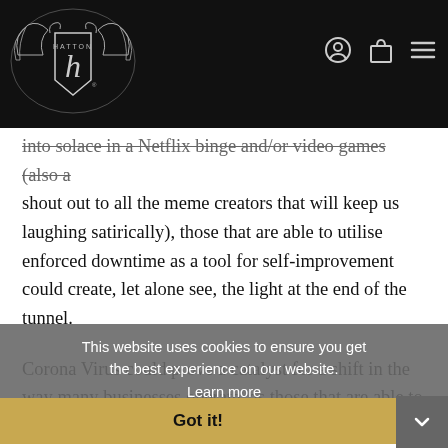Hatton — navigation header with logo and icons
into solace in a Netflix binge and/or video games (also a shout out to all the meme creators that will keep us laughing satirically), those that are able to utilise enforced downtime as a tool for self-improvement could create, let alone see, the light at the end of the tunnel.
Corona Virus could prove a catalyst for a shift in the way many businesses operate, as those that are able to begin to invest in methods that allow their staff to work remotely. Virtual meetings, while already the norm in some companies and industries, will emanate outwardly and grow in adoption across the board for the majority of those previously resistant to such communication methods, until they became vital for survival in the immediate future.
This website uses cookies to ensure you get the best experience on our website. Learn more
Got it!